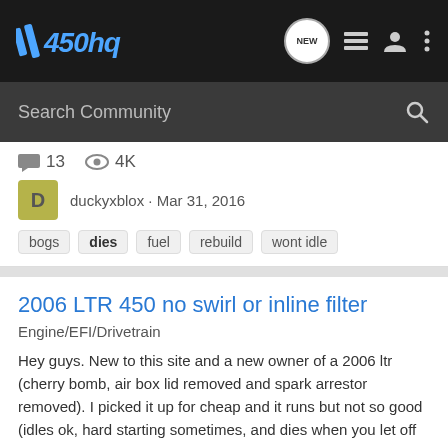//450hq — navigation bar with logo, NEW button, list icon, user icon, menu icon
Search Community
13 comments · 4K views
duckyxblox · Mar 31, 2016
bogs  dies  fuel  rebuild  wont idle
2006 LTR 450 no swirl or inline filter
Engine/EFI/Drivetrain
Hey guys. New to this site and a new owner of a 2006 ltr (cherry bomb, air box lid removed and spark arrestor removed). I picked it up for cheap and it runs but not so good (idles ok, hard starting sometimes, and dies when you let off the throttle quick). I took off the petcock to see what the...
6 comments · 2K views
LiTteR · May 22, 2015